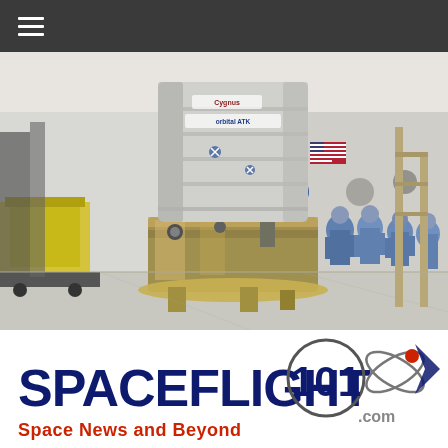☰ (navigation menu)
[Figure (photo): Cygnus spacecraft module in a clean room facility, with Orbital ATK branding visible on the cylindrical pressurized cargo module. Several technicians in blue cleanroom suits stand near the spacecraft. American flag and NASA logos visible on the white walls in the background. Yellow equipment and scaffolding visible on the left side.]
[Figure (logo): Spaceflight101 logo with text 'SPACEFLIGHT 101' in dark blue and red, with a stylized orbital/atom graphic and '.com' in gray. Tagline reads 'Space News and Beyond' in red.]